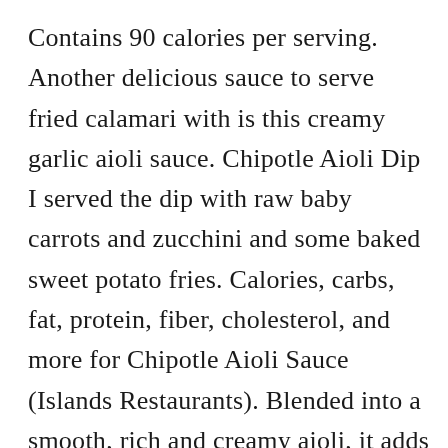Contains 90 calories per serving. Another delicious sauce to serve fried calamari with is this creamy garlic aioli sauce. Chipotle Aioli Dip I served the dip with raw baby carrots and zucchini and some baked sweet potato fries. Calories, carbs, fat, protein, fiber, cholesterol, and more for Chipotle Aioli Sauce (Islands Restaurants). Blended into a smooth, rich and creamy aioli, it adds an authentic Tex-Mex kick to sandwiches and is delicious used as dip with appetizers. This 5 minute chipotle aioli recipe is one of the most delicious sauces to ever exist. It's so easy and requires just 6 ingredients and 5 minutes to make. To make the chipotle aioli start by combining